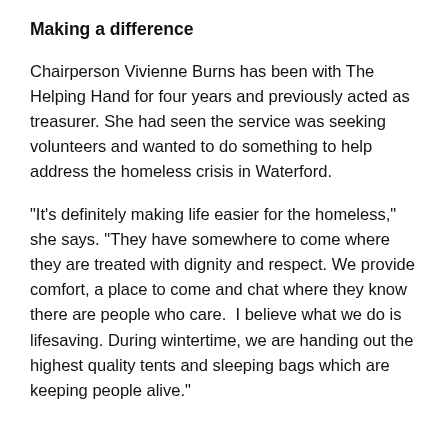Making a difference
Chairperson Vivienne Burns has been with The Helping Hand for four years and previously acted as treasurer. She had seen the service was seeking volunteers and wanted to do something to help address the homeless crisis in Waterford.
“It’s definitely making life easier for the homeless,” she says. “They have somewhere to come where they are treated with dignity and respect. We provide comfort, a place to come and chat where they know there are people who care.  I believe what we do is lifesaving. During wintertime, we are handing out the highest quality tents and sleeping bags which are keeping people alive.”